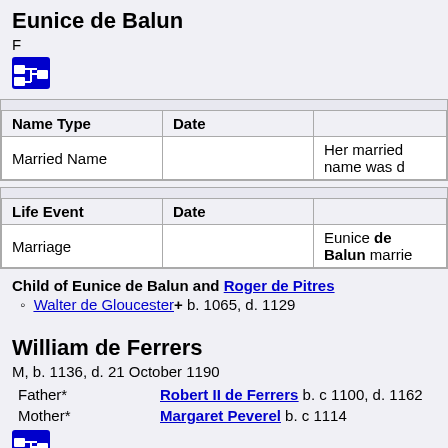Eunice de Balun
F
[Figure (other): Blue icon button with family tree/relationship symbol]
| Name Type | Date |  |
| --- | --- | --- |
| Married Name |  | Her married name was d… |
| Life Event | Date |  |
| --- | --- | --- |
| Marriage |  | Eunice de Balun marrie… |
Child of Eunice de Balun and Roger de Pitres
Walter de Gloucester+ b. 1065, d. 1129
William de Ferrers
M, b. 1136, d. 21 October 1190
Father*  Robert II de Ferrers b. c 1100, d. 1162
Mother*  Margaret Peverel b. c 1114
[Figure (other): Blue icon button with family tree/relationship symbol]